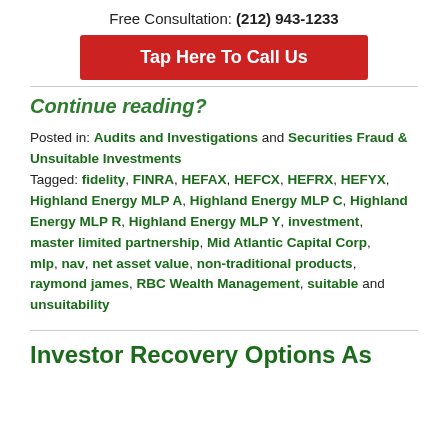Free Consultation: (212) 943-1233
[Figure (other): Red button: Tap Here To Call Us]
Continue reading?
Posted in: Audits and Investigations and Securities Fraud & Unsuitable Investments
Tagged: fidelity, FINRA, HEFAX, HEFCX, HEFRX, HEFYX, Highland Energy MLP A, Highland Energy MLP C, Highland Energy MLP R, Highland Energy MLP Y, investment, master limited partnership, Mid Atlantic Capital Corp, mlp, nav, net asset value, non-traditional products, raymond james, RBC Wealth Management, suitable and unsuitability
Investor Recovery Options As